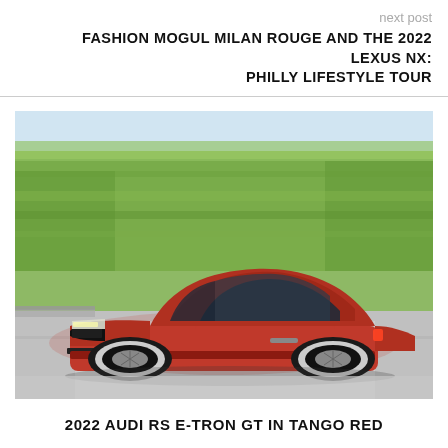next post
FASHION MOGUL MILAN ROUGE AND THE 2022 LEXUS NX: PHILLY LIFESTYLE TOUR
[Figure (photo): Red Audi RS e-tron GT sports car driving at speed on a road with blurred green trees in the background, motion blur on the trees suggesting high speed, bright sunny day]
2022 AUDI RS E-TRON GT IN TANGO RED